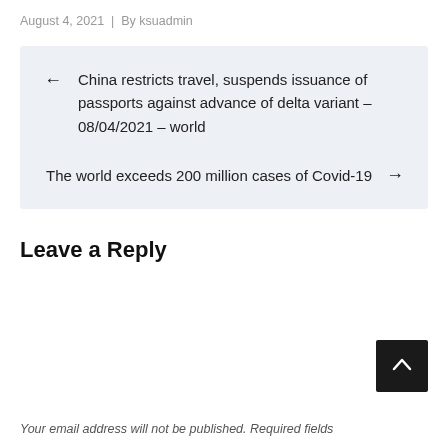August 4, 2021  |  By ksuadmin
← China restricts travel, suspends issuance of passports against advance of delta variant – 08/04/2021 – world
The world exceeds 200 million cases of Covid-19 →
Leave a Reply
Your email address will not be published. Required fields